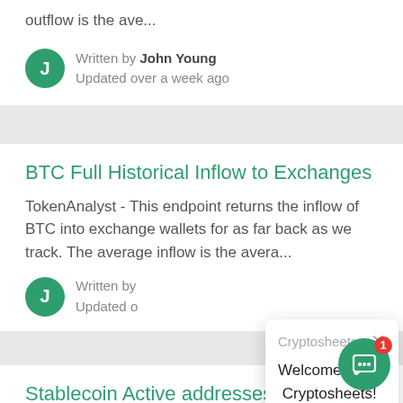outflow is the ave...
Written by John Young
Updated over a week ago
BTC Full Historical Inflow to Exchanges
TokenAnalyst - This endpoint returns the inflow of BTC into exchange wallets for as far back as we track. The average inflow is the avera...
Written by
Updated o
Cryptosheets
Welcome to  Cryptosheets! Happy to help with any questions you may have.
Stablecoin Active addresses
TokenAnalyst - This endpoint returns the active addresses of stabelecoin tokens for every day of their existence. An address is defined a...